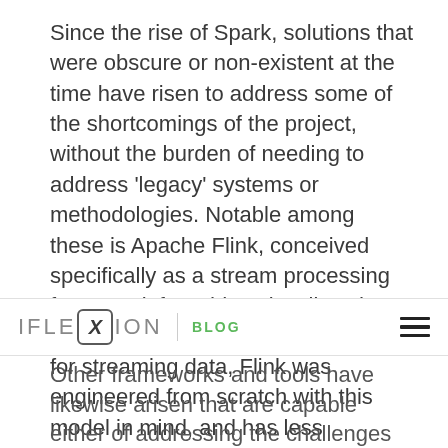Since the rise of Spark, solutions that were obscure or non-existent at the time have risen to address some of the shortcomings of the project, without the burden of needing to address 'legacy' systems or methodologies. Notable among these is Apache Flink, conceived specifically as a stream processing framework for addressing 'live' data. Though Spark includes a component for streaming data, Flink was engineered from scratch with this model in mind, and has less
IFLEXION | BLOG
Other frameworks and tools have likewise arisen that are capable either of addressing the challenges of big data workloads in a more modern and unencumbered way than Spark, or which have rendered moot some of the traditional misgivings about adopting MapReduce over Hadoop, by providing accessible, user-friendly APIs that hide the opaque workings of MapReduce in